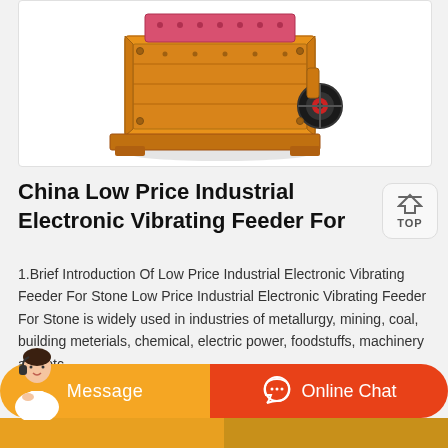[Figure (photo): Industrial yellow impact crusher / vibrating feeder machine photographed on white background]
China Low Price Industrial Electronic Vibrating Feeder For
1.Brief Introduction Of Low Price Industrial Electronic Vibrating Feeder For Stone Low Price Industrial Electronic Vibrating Feeder For Stone is widely used in industries of metallurgy, mining, coal, building meterials, chemical, electric power, foodstuffs, machinery and etc.
[Figure (photo): Customer service agent avatar and call-to-action buttons: Message (orange) and Online Chat (red)]